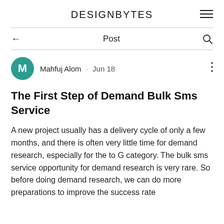DESIGNBYTES
Mahfuj Alom · Jun 18
The First Step of Demand Bulk Sms Service
A new project usually has a delivery cycle of only a few months, and there is often very little time for demand research, especially for the to G category. The bulk sms service opportunity for demand research is very rare. So before doing demand research, we can do more preparations to improve the success rate